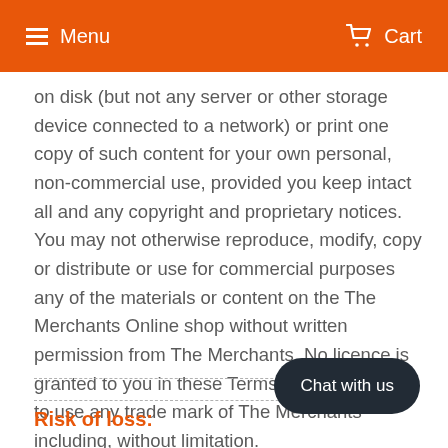Menu  Cart
on disk (but not any server or other storage device connected to a network) or print one copy of such content for your own personal, non-commercial use, provided you keep intact all and any copyright and proprietary notices. You may not otherwise reproduce, modify, copy or distribute or use for commercial purposes any of the materials or content on the The Merchants Online shop without written permission from The Merchants. No licence is granted to you in these Terms and Conditions to use any trade mark of The Merchants including, without limitation.
Risk of loss: